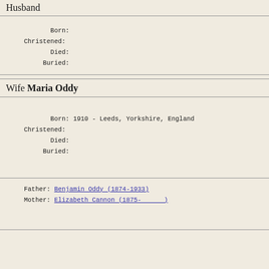Husband
Born:
Christened:
Died:
Buried:
Wife Maria Oddy
Born: 1910 - Leeds, Yorkshire, England
Christened:
Died:
Buried:
Father: Benjamin Oddy (1874-1933)
Mother: Elizabeth Cannon (1875-     )